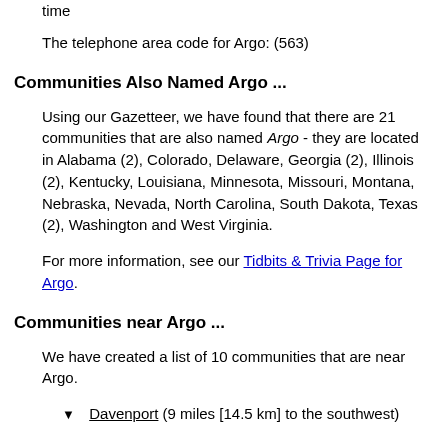time
The telephone area code for Argo: (563)
Communities Also Named Argo ...
Using our Gazetteer, we have found that there are 21 communities that are also named Argo - they are located in Alabama (2), Colorado, Delaware, Georgia (2), Illinois (2), Kentucky, Louisiana, Minnesota, Missouri, Montana, Nebraska, Nevada, North Carolina, South Dakota, Texas (2), Washington and West Virginia.
For more information, see our Tidbits & Trivia Page for Argo.
Communities near Argo ...
We have created a list of 10 communities that are near Argo.
▼ Davenport (9 miles [14.5 km] to the southwest)